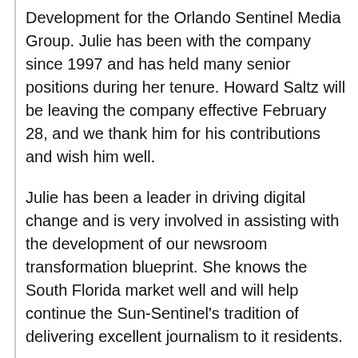Development for the Orlando Sentinel Media Group. Julie has been with the company since 1997 and has held many senior positions during her tenure. Howard Saltz will be leaving the company effective February 28, and we thank him for his contributions and wish him well.
Julie has been a leader in driving digital change and is very involved in assisting with the development of our newsroom transformation blueprint. She knows the South Florida market well and will help continue the Sun-Sentinel's tradition of delivering excellent journalism to it residents.
Please join me in welcoming Nancy back to the company and congratulating Julie on her new